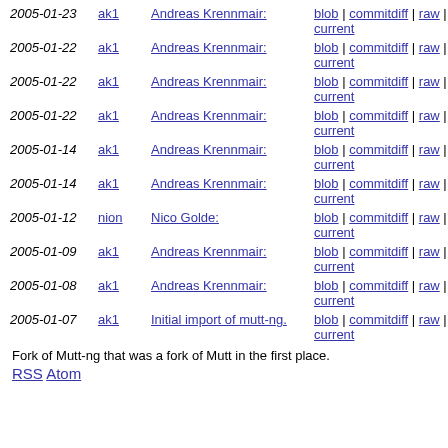| Date | User | Name | Links |
| --- | --- | --- | --- |
| 2005-01-23 | ak1 | Andreas Krennmair: | blob | commitdiff | raw | diff to current |
| 2005-01-22 | ak1 | Andreas Krennmair: | blob | commitdiff | raw | diff to current |
| 2005-01-22 | ak1 | Andreas Krennmair: | blob | commitdiff | raw | diff to current |
| 2005-01-22 | ak1 | Andreas Krennmair: | blob | commitdiff | raw | diff to current |
| 2005-01-14 | ak1 | Andreas Krennmair: | blob | commitdiff | raw | diff to current |
| 2005-01-14 | ak1 | Andreas Krennmair: | blob | commitdiff | raw | diff to current |
| 2005-01-12 | nion | Nico Golde: | blob | commitdiff | raw | diff to current |
| 2005-01-09 | ak1 | Andreas Krennmair: | blob | commitdiff | raw | diff to current |
| 2005-01-08 | ak1 | Andreas Krennmair: | blob | commitdiff | raw | diff to current |
| 2005-01-07 | ak1 | Initial import of mutt-ng. | blob | commitdiff | raw | diff to current |
Fork of Mutt-ng that was a fork of Mutt in the first place.
RSS Atom